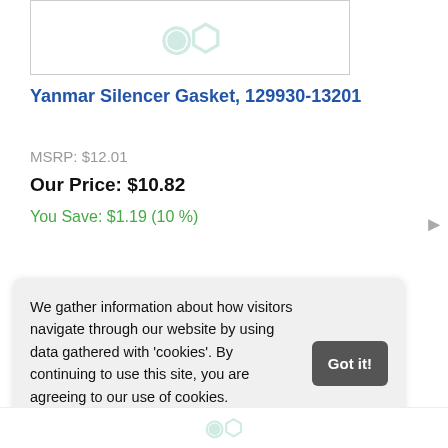[Figure (photo): Product image box with teal watermark logo, partially visible at top of page]
Yanmar Silencer Gasket, 129930-13201
MSRP: $12.01
Our Price: $10.82
You Save: $1.19 (10 %)
See Details
We gather information about how visitors navigate through our website by using data gathered with 'cookies'. By continuing to use this site, you are agreeing to our use of cookies.
Learn more
[Figure (photo): Partial product image visible at bottom of page with teal watermark]